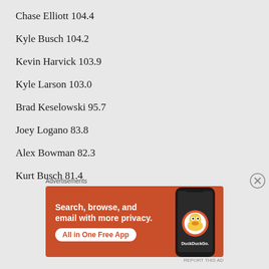Chase Elliott 104.4
Kyle Busch 104.2
Kevin Harvick 103.9
Kyle Larson 103.0
Brad Keselowski 95.7
Joey Logano 83.8
Alex Bowman 82.3
Kurt Busch 81.4
[Figure (infographic): DuckDuckGo advertisement banner: orange background with text 'Search, browse, and email with more privacy. All in One Free App' and a phone showing the DuckDuckGo app]
Advertisements